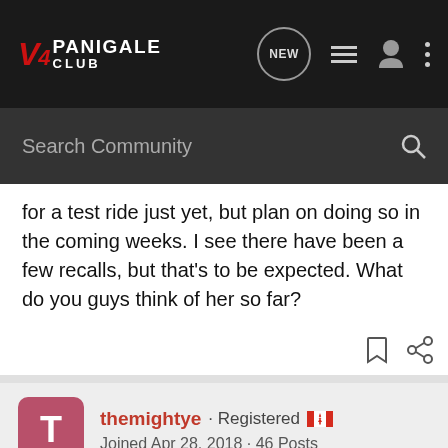V4 PANIGALE CLUB — navigation bar with NEW, list, user, and more icons
Search Community
for a test ride just yet, but plan on doing so in the coming weeks. I see there have been a few recalls, but that's to be expected. What do you guys think of her so far?
themightye · Registered 🇨🇦
Joined Apr 28, 2018 · 46 Posts
#2 · Aug 1, 2018
What are you riding now. I had an 848, loved that bike. The V4 is the best bike I ridden, you have to take one out to see why. Super smooth, easy to turn, with a great degree of adjustable options. So far so good.